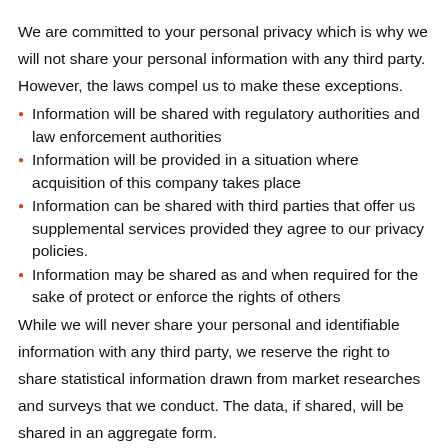We are committed to your personal privacy which is why we will not share your personal information with any third party. However, the laws compel us to make these exceptions.
Information will be shared with regulatory authorities and law enforcement authorities
Information will be provided in a situation where acquisition of this company takes place
Information can be shared with third parties that offer us supplemental services provided they agree to our privacy policies.
Information may be shared as and when required for the sake of protect or enforce the rights of others
While we will never share your personal and identifiable information with any third party, we reserve the right to share statistical information drawn from market researches and surveys that we conduct. The data, if shared, will be shared in an aggregate form.
What is a cookie?